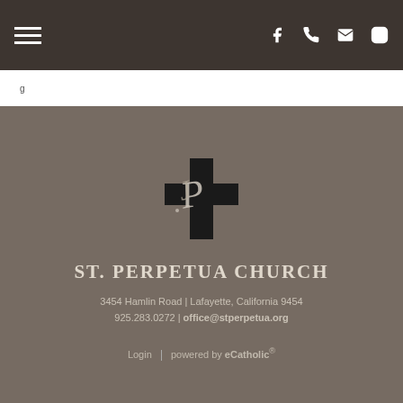St. Perpetua Church website header navigation bar with hamburger menu and social icons (Facebook, phone, email, Instagram)
g
[Figure (logo): St. Perpetua Church logo: a black cross with decorative script letters 'SP' overlaid, on a taupe/brown background]
ST. PERPETUA CHURCH
3454 Hamlin Road | Lafayette, California 9454
925.283.0272 | office@stperpetua.org
Login | powered by eCatholic®